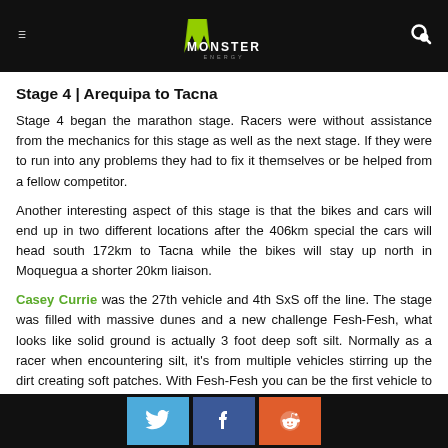Monster Energy [logo] — navigation header with menu and search icons
Stage 4 | Arequipa to Tacna
Stage 4 began the marathon stage. Racers were without assistance from the mechanics for this stage as well as the next stage. If they were to run into any problems they had to fix it themselves or be helped from a fellow competitor.
Another interesting aspect of this stage is that the bikes and cars will end up in two different locations after the 406km special the cars will head south 172km to Tacna while the bikes will stay up north in Moquegua a shorter 20km liaison.
Casey Currie was the 27th vehicle and 4th SxS off the line. The stage was filled with massive dunes and a new challenge Fesh-Fesh, what looks like solid ground is actually 3 foot deep soft silt. Normally as a racer when encountering silt, it's from multiple vehicles stirring up the dirt creating soft patches. With Fesh-Fesh you can be the first vehicle to arrive with no line broken into the terrain and sink 2-5 feet. Even tougher is that under the silt there can be rocks scattered
Social share buttons: Twitter, Facebook, Reddit